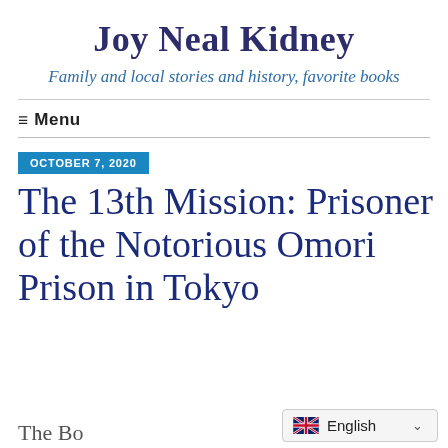Joy Neal Kidney
Family and local stories and history, favorite books
≡  Menu
OCTOBER 7, 2020
The 13th Mission: Prisoner of the Notorious Omori Prison in Tokyo
The Bo